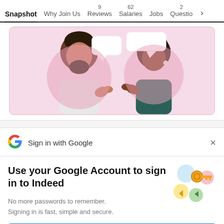Snapshot | Why Join Us | 9 Reviews | 62 Salaries | Jobs | 2 Questio >
[Figure (illustration): Illustration of two people having a conversation with speech bubbles on a pink background — a bearded man on the left in white and a woman on the right in teal/green.]
Sign in with Google
Use your Google Account to sign in to Indeed
No more passwords to remember. Signing in is fast, simple and secure.
[Figure (illustration): Google sign-in key icon with colorful circles and a gold key graphic]
Continue